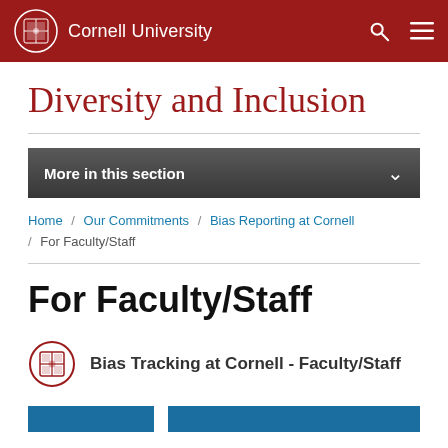Cornell University
Diversity and Inclusion
More in this section
Home / Our Commitments / Bias Reporting at Cornell / For Faculty/Staff
For Faculty/Staff
Bias Tracking at Cornell - Faculty/Staff